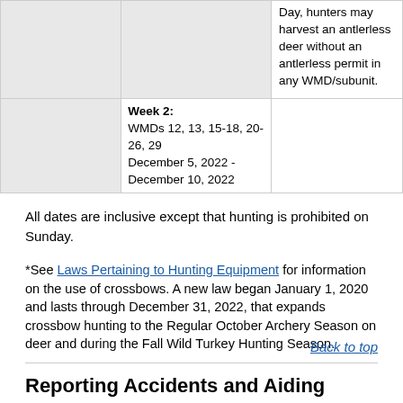|  |  | Day, hunters may harvest an antlerless deer without an antlerless permit in any WMD/subunit. |
|  | Week 2:
WMDs 12, 13, 15-18, 20-26, 29
December 5, 2022 - December 10, 2022 |  |
All dates are inclusive except that hunting is prohibited on Sunday.
*See Laws Pertaining to Hunting Equipment for information on the use of crossbows. A new law began January 1, 2020 and lasts through December 31, 2022, that expands crossbow hunting to the Regular October Archery Season on deer and during the Fall Wild Turkey Hunting Season.
Back to top
Reporting Accidents and Aiding Victims